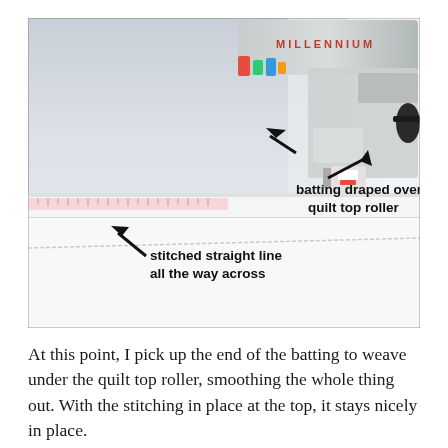[Figure (photo): Photo of a Millennium longarm quilting machine. White horizontal rollers/rails are visible in the foreground. Annotations with black arrows and text label 'batting draped over quilt top roller' (pointing to the roller area) and 'stitched straight line all the way across' (pointing to a stitched line on the white fabric/batting).]
At this point, I pick up the end of the batting to weave under the quilt top roller, smoothing the whole thing out. With the stitching in place at the top, it stays nicely in place.